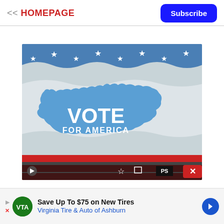<< HOMEPAGE
Subscribe
[Figure (photo): A waving American flag-style banner with a blue silhouette map of the United States in the center. The map contains the text 'VOTE FOR AMERICA' in white letters. The banner has white stars on a blue stripe at the top and red and white stripes at the bottom. A red close button with an X is visible at the bottom right corner. Video player controls are visible at the bottom.]
Save Up To $75 on New Tires Virginia Tire & Auto of Ashburn